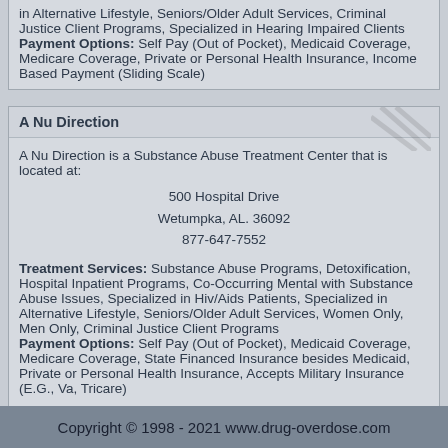in Alternative Lifestyle, Seniors/Older Adult Services, Criminal Justice Client Programs, Specialized in Hearing Impaired Clients Payment Options: Self Pay (Out of Pocket), Medicaid Coverage, Medicare Coverage, Private or Personal Health Insurance, Income Based Payment (Sliding Scale)
A Nu Direction
A Nu Direction is a Substance Abuse Treatment Center that is located at:

500 Hospital Drive
Wetumpka, AL. 36092
877-647-7552

Treatment Services: Substance Abuse Programs, Detoxification, Hospital Inpatient Programs, Co-Occurring Mental with Substance Abuse Issues, Specialized in Hiv/Aids Patients, Specialized in Alternative Lifestyle, Seniors/Older Adult Services, Women Only, Men Only, Criminal Justice Client Programs
Payment Options: Self Pay (Out of Pocket), Medicaid Coverage, Medicare Coverage, State Financed Insurance besides Medicaid, Private or Personal Health Insurance, Accepts Military Insurance (E.G., Va, Tricare)
Copyright © 1998 - 2021 www.drug-overdose.com